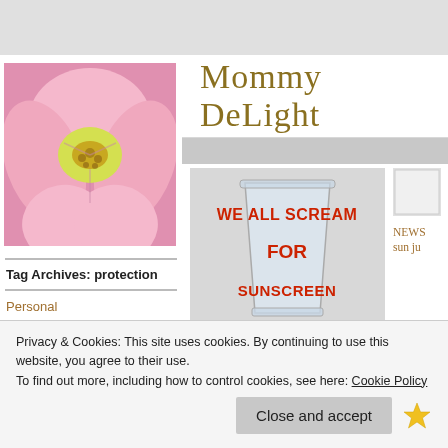Mommy DeLight
[Figure (photo): Close-up photo of a pink and yellow orchid flower]
Tag Archives: protection
Personal
[Figure (photo): Image of a glass with text 'WE ALL SCREAM FOR SUNSCREEN' in red letters]
“Sun Protection” from sunscreen to sunless
[Figure (photo): Small partially visible image on right side]
NEWS sun ju
Privacy & Cookies: This site uses cookies. By continuing to use this website, you agree to their use.
To find out more, including how to control cookies, see here: Cookie Policy
Close and accept